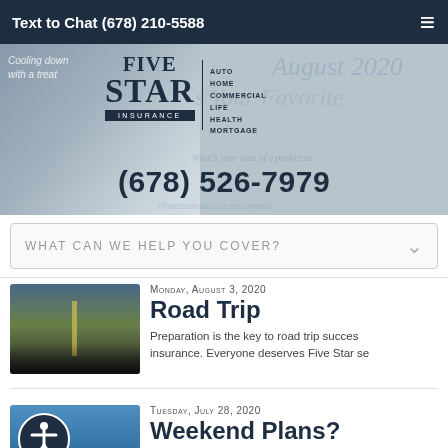Text to Chat (678) 210-5588
[Figure (screenshot): Five Star Insurance website hero banner with logo, phone number (678) 526-7979, dog photo, and ghost summer social media text overlay]
WHAT CAN WE HELP YOU COVER?
Monday, August 3, 2020
Road Trip
Preparation is the key to road trip success... insurance. Everyone deserves Five Star se...
Tuesday, July 28, 2020
Weekend Plans?
What are your weekend plans? Mask up...